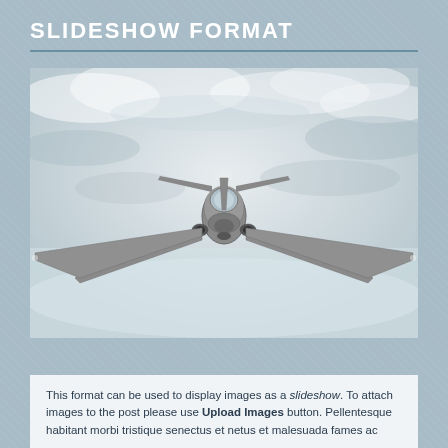SLIDESHOW FORMAT
[Figure (photo): Front-facing view of a small private jet aircraft in flight against a cloudy grey-white sky, black and white / desaturated image]
This format can be used to display images as a slideshow. To attach images to the post please use Upload Images button. Pellentesque habitant morbi tristique senectus et netus et malesuada fames ac